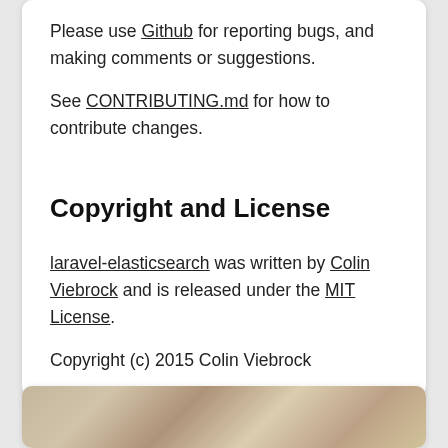Please use Github for reporting bugs, and making comments or suggestions.
See CONTRIBUTING.md for how to contribute changes.
Copyright and License
laravel-elasticsearch was written by Colin Viebrock and is released under the MIT License.
Copyright (c) 2015 Colin Viebrock
[Figure (photo): Partial view of a photo at the bottom of the page, appears to show hair or fur texture in warm brown tones.]